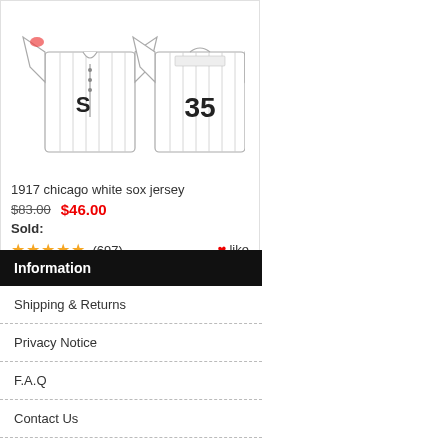[Figure (photo): Front and back view of a 1917 Chicago White Sox pinstripe baseball jersey with number 35]
1917 chicago white sox jersey
$83.00  $46.00
Sold:
★★★★★ (697)  like
Information
Shipping & Returns
Privacy Notice
F.A.Q
Contact Us